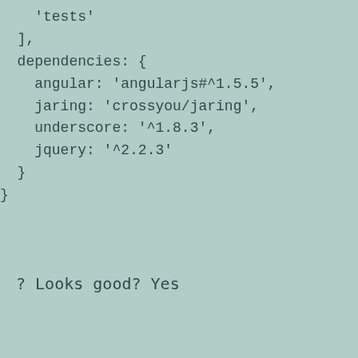'test',
    'tests'
  ],
  dependencies: {
    angular: 'angularjs#^1.5.5',
    jaring: 'crossyou/jaring',
    underscore: '^1.8.3',
    jquery: '^2.2.3'
  }
}
? Looks good? Yes